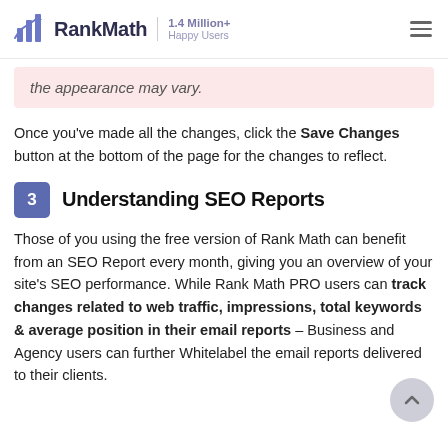RankMath — 1.4 Million+ Happy Users
the appearance may vary.
Once you've made all the changes, click the Save Changes button at the bottom of the page for the changes to reflect.
3  Understanding SEO Reports
Those of you using the free version of Rank Math can benefit from an SEO Report every month, giving you an overview of your site's SEO performance. While Rank Math PRO users can track changes related to web traffic, impressions, total keywords & average position in their email reports – Business and Agency users can further Whitelabel the email reports delivered to their clients.